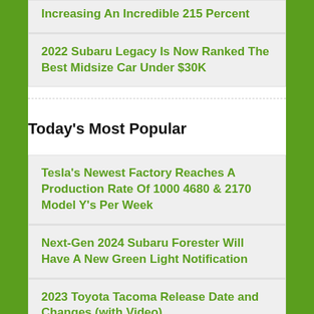Increasing An Incredible 215 Percent
2022 Subaru Legacy Is Now Ranked The Best Midsize Car Under $30K
Today's Most Popular
Tesla's Newest Factory Reaches A Production Rate Of 1000 4680 & 2170 Model Y's Per Week
Next-Gen 2024 Subaru Forester Will Have A New Green Light Notification
2023 Toyota Tacoma Release Date and Changes (with Video)
2023 Toyota Venza Release Date and BIG Changes